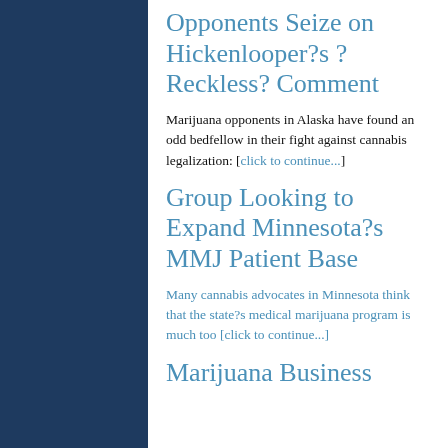Opponents Seize on Hickenlooper?s ?Reckless? Comment
Marijuana opponents in Alaska have found an odd bedfellow in their fight against cannabis legalization: [click to continue...]
Group Looking to Expand Minnesota?s MMJ Patient Base
Many cannabis advocates in Minnesota think that the state?s medical marijuana program is much too [click to continue...]
Marijuana Business